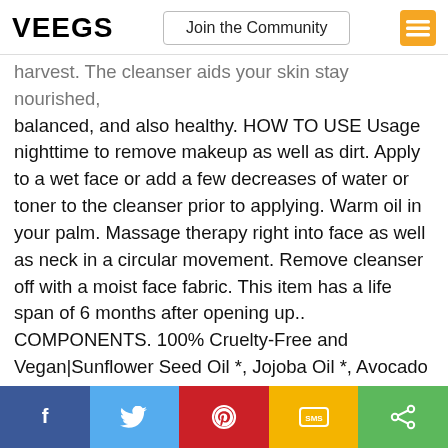VEEGS | Join the Community
harvest. The cleanser aids your skin stay nourished, balanced, and also healthy. HOW TO USE Usage nighttime to remove makeup as well as dirt. Apply to a wet face or add a few decreases of water or toner to the cleanser prior to applying. Warm oil in your palm. Massage therapy right into face as well as neck in a circular movement. Remove cleanser off with a moist face fabric. This item has a life span of 6 months after opening up.. COMPONENTS. 100% Cruelty-Free and Vegan|Sunflower Seed Oil *, Jojoba Oil *, Avocado Oil *, Evening Primrose Oil *, Raspberry Seed Oil *, Gmo-Free Vitamin E, Rosemary Fallen Leave Extract, As Well As Restorative Important Oils Of: Bergamot, Lavender *, Incense * And Petit Grain.|* Certified Organic. Bergamot is Bergamotene-free (not photo-toxic). Made in Canada....
Read more
[Figure (infographic): Social sharing bar with five buttons: Facebook (dark blue), Twitter (light blue), Pinterest (red), SMS (yellow), Share (green)]